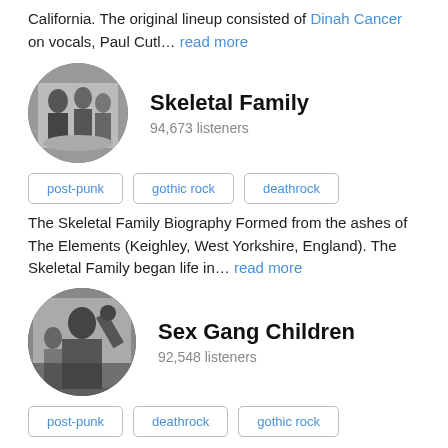California. The original lineup consisted of Dinah Cancer on vocals, Paul Cutl... read more
[Figure (photo): Black and white circular photo of Skeletal Family band members]
Skeletal Family
94,673 listeners
post-punk
gothic rock
deathrock
The Skeletal Family Biography Formed from the ashes of The Elements (Keighley, West Yorkshire, England). The Skeletal Family began life in... read more
[Figure (photo): Black and white circular photo of Sex Gang Children]
Sex Gang Children
92,548 listeners
post-punk
deathrock
gothic rock